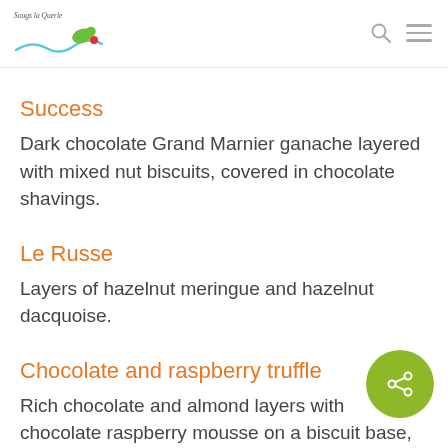Sougs la Querle (logo with wave)
Success
Dark chocolate Grand Marnier ganache layered with mixed nut biscuits, covered in chocolate shavings.
Le Russe
Layers of hazelnut meringue and hazelnut dacquoise.
Chocolate and raspberry truffle
Rich chocolate and almond layers with chocolate raspberry mousse on a biscuit base, covered in dark chocolate couverture glaçage.